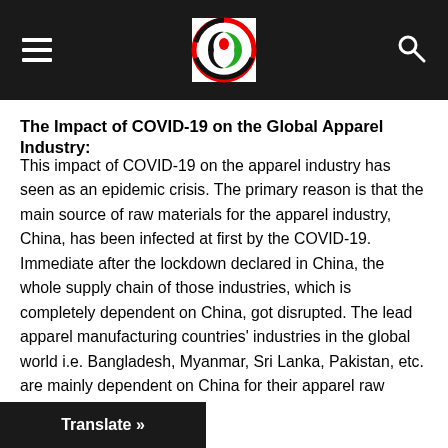[Navigation header with hamburger menu, logo, and search icon]
The Impact of COVID-19 on the Global Apparel Industry:
This impact of COVID-19 on the apparel industry has seen as an epidemic crisis. The primary reason is that the main source of raw materials for the apparel industry, China, has been infected at first by the COVID-19. Immediate after the lockdown declared in China, the whole supply chain of those industries, which is completely dependent on China, got disrupted. The lead apparel manufacturing countries' industries in the global world i.e. Bangladesh, Myanmar, Sri Lanka, Pakistan, etc. are mainly dependent on China for their apparel raw materials. For instance, Bangladesh is dependent on China alone for more than 50 percent of apparel raw materials, and about 40 percent of... d spare parts for this industry (Perera,